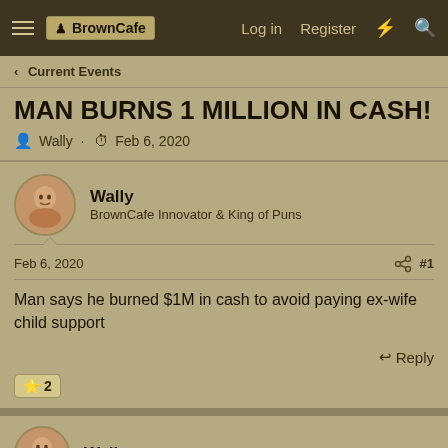BrownCafe | Log in | Register
Current Events
MAN BURNS 1 MILLION IN CASH!
Wally · Feb 6, 2020
Wally
BrownCafe Innovator & King of Puns
Feb 6, 2020  #1
Man says he burned $1M in cash to avoid paying ex-wife child support
Reply
⭐ 2
Wally